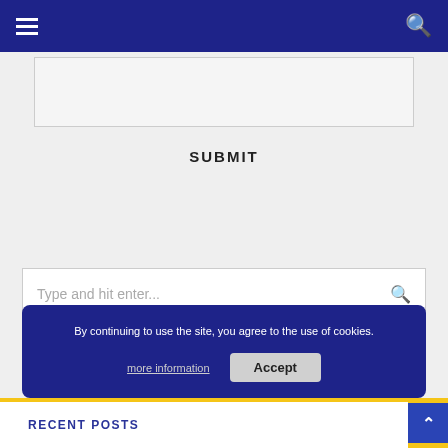Navigation bar with hamburger menu and search icon
[Figure (screenshot): Text input area / comment box, empty, light grey background with border]
SUBMIT
[Figure (screenshot): Search input box with placeholder text 'Type and hit enter...' and a search icon on the right]
By continuing to use the site, you agree to the use of cookies. more information Accept
RECENT POSTS